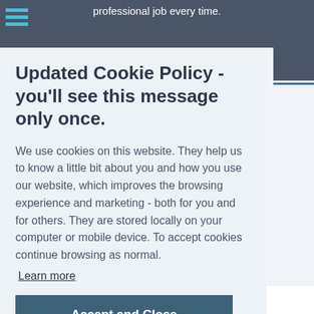professional job every time.
Updated Cookie Policy - you'll see this message only once.
We use cookies on this website. They help us to know a little bit about you and how you use our website, which improves the browsing experience and marketing - both for you and for others. They are stored locally on your computer or mobile device. To accept cookies continue browsing as normal. Learn more
Accept and Close
CCTV Surveys